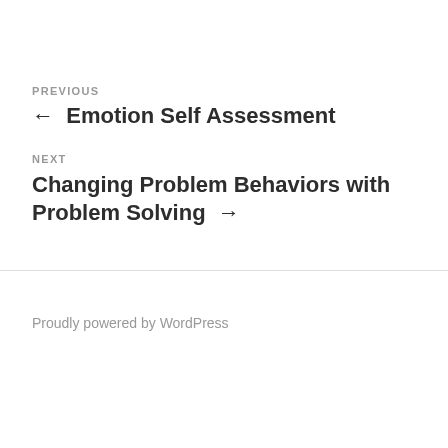PREVIOUS
← Emotion Self Assessment
NEXT
Changing Problem Behaviors with Problem Solving →
Proudly powered by WordPress